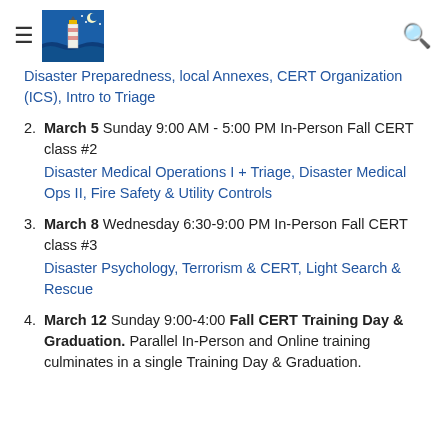[Figure (logo): Lighthouse and ocean logo with moon/stars, blue tones]
Disaster Preparedness, local Annexes, CERT Organization (ICS), Intro to Triage
2. March 5 Sunday 9:00 AM - 5:00 PM In-Person Fall CERT class #2
Disaster Medical Operations I + Triage, Disaster Medical Ops II, Fire Safety & Utility Controls
3. March 8 Wednesday 6:30-9:00 PM In-Person Fall CERT class #3
Disaster Psychology, Terrorism & CERT, Light Search & Rescue
4. March 12 Sunday 9:00-4:00 Fall CERT Training Day & Graduation. Parallel In-Person and Online training culminates in a single Training Day & Graduation.